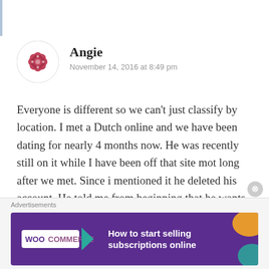[Figure (illustration): User avatar: a decorative flower/mandala icon in red/pink on a white circular background]
Angie
November 14, 2016 at 8:49 pm
Everyone is different so we can't just classify by location. I met a Dutch online and we have been dating for nearly 4 months now. He was recently still on it while I have been off that site mot long after we met. Since i mentioned it he deleted his account. He told me from beginning that he wants to save money coz he spent too much last year. Every time when we need to pay for something he would not ask me to share but I feel he's bit reluctant to pay which makes me feel bad. So i offered sometimes and he accepted. It's very awkward
Advertisements
[Figure (screenshot): WooCommerce advertisement banner: purple background with WooCommerce logo, teal arrow, and text 'How to start selling subscriptions online' with orange and teal decorative shapes on right]